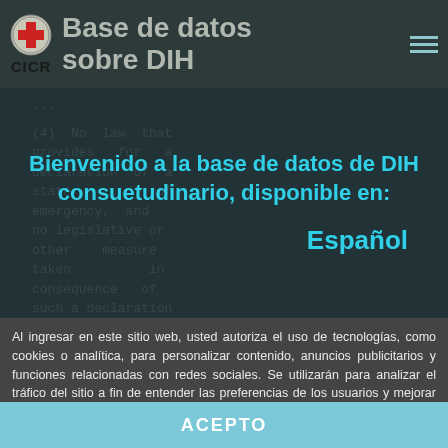Base de datos sobre DIH
...
(4) No law that provides for a declaration of a state of emergency, and no legislative or other measure taken in consequence of such a declaration
Bienvenido a la base de datos de DIH consuetudinario, disponible en:
Español
Al ingresar en este sitio web, usted autoriza el uso de tecnologías, como cookies o analítica, para personalizar contenido, anuncios publicitarios y funciones relacionadas con redes sociales. Se utilizarán para analizar el tráfico del sitio a fin de entender las preferencias de los usuarios y mejorar nuestros servicios. Lea más
ACEPTO